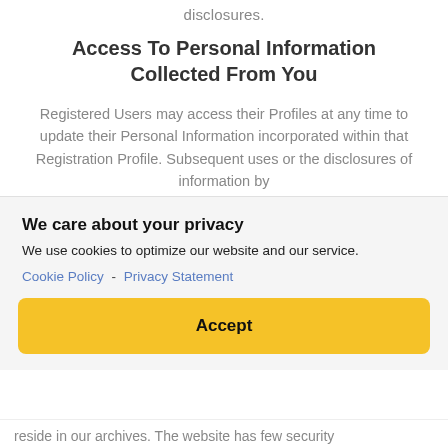disclosures.
Access To Personal Information Collected From You
Registered Users may access their Profiles at any time to update their Personal Information incorporated within that Registration Profile. Subsequent uses or the disclosures of information by
We care about your privacy
We use cookies to optimize our website and our service.
Cookie Policy - Privacy Statement
Accept
reside in our archives. The website has few security